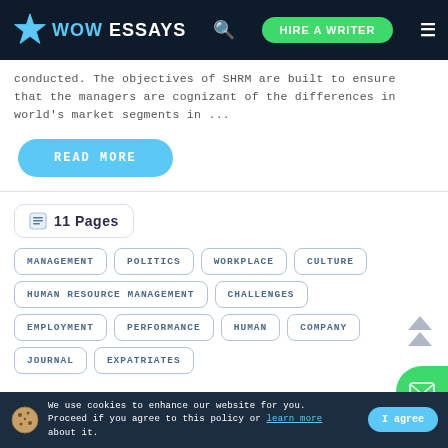WOW ESSAYS — HIRE A WRITER
conducted. The objectives of SHRM are built to ensure that the managers are cognizant of the differences in world's market segments in ...
READ MORE
11 Pages
MANAGEMENT
POLITICS
WORKPLACE
CULTURE
HUMAN RESOURCE MANAGEMENT
CHALLENGES
EMPLOYMENT
PERFORMANCE
HUMAN
COMPANY
JOURNAL
EXPATRIATES
We use cookies to enhance our website for you. Proceed if you agree to this policy or learn more about it. I agree